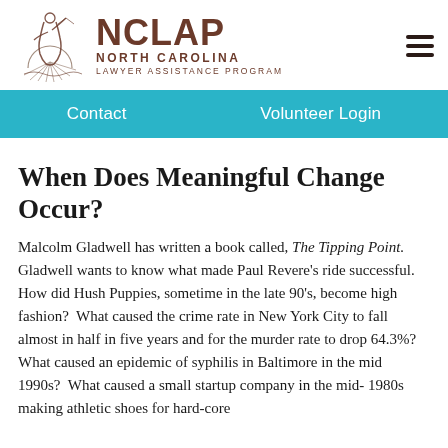NCLAP NORTH CAROLINA LAWYER ASSISTANCE PROGRAM
When Does Meaningful Change Occur?
Malcolm Gladwell has written a book called, The Tipping Point. Gladwell wants to know what made Paul Revere's ride successful.  How did Hush Puppies, sometime in the late 90's, become high fashion?  What caused the crime rate in New York City to fall almost in half in five years and for the murder rate to drop 64.3%?  What caused an epidemic of syphilis in Baltimore in the mid 1990s?  What caused a small startup company in the mid- 1980s making athletic shoes for hard-core